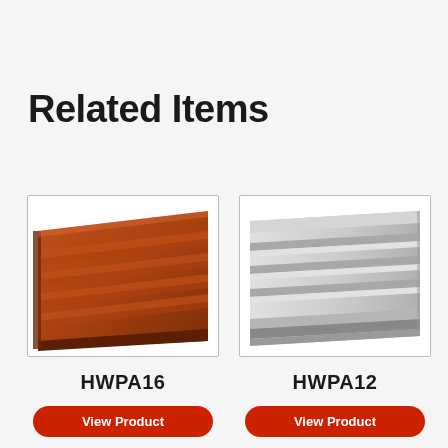Related Items
[Figure (photo): Brown corrugated/ribbed panel strip (HWPA16) shown at an angle against white background, inside a bordered box]
HWPA16
[Figure (photo): Grey corrugated/ribbed panel strip (HWPA12) shown at an angle against white background, inside a bordered box]
HWPA12